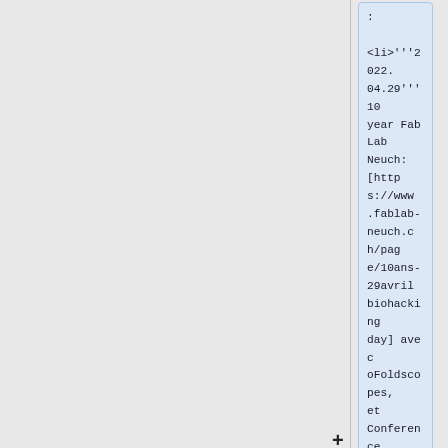: <li>'''2022.04.29''' 10 year FabLab Neuch: [https://www.fablab-neuch.ch/page/10ans-29avril biohacking day] avec oFoldscopes, et Conference. 30avr pour citsci.
: <li>'''2022.04.27''' #OH pour les